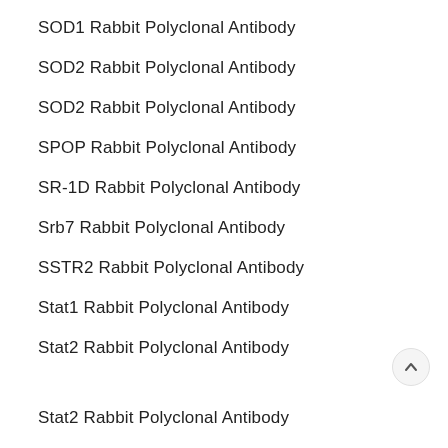SOD1 Rabbit Polyclonal Antibody
SOD2 Rabbit Polyclonal Antibody
SOD2 Rabbit Polyclonal Antibody
SPOP Rabbit Polyclonal Antibody
SR-1D Rabbit Polyclonal Antibody
Srb7 Rabbit Polyclonal Antibody
SSTR2 Rabbit Polyclonal Antibody
Stat1 Rabbit Polyclonal Antibody
Stat2 Rabbit Polyclonal Antibody
Stat2 Rabbit Polyclonal Antibody